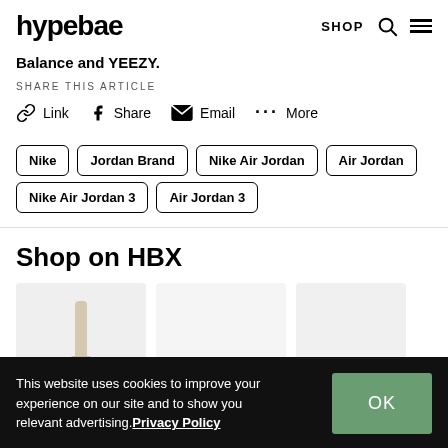hypebae | SHOP
Balance and YEEZY.
SHARE THIS ARTICLE
Link
Share
Email
More
Nike
Jordan Brand
Nike Air Jordan
Air Jordan
Nike Air Jordan 3
Air Jordan 3
Shop on HBX
[Figure (photo): Three product cards partially visible showing items for sale on HBX]
This website uses cookies to improve your experience on our site and to show you relevant advertising. Privacy Policy